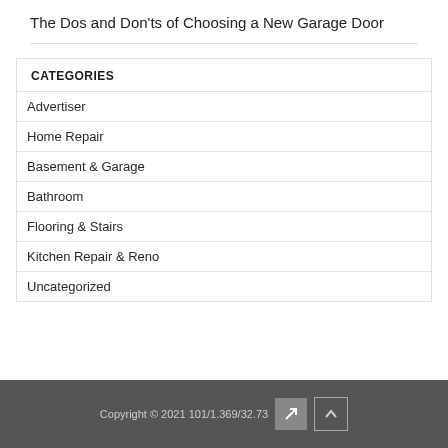The Dos and Don'ts of Choosing a New Garage Door
CATEGORIES
Advertiser
Home Repair
Basement & Garage
Bathroom
Flooring & Stairs
Kitchen Repair & Reno
Uncategorized
Copyright © 2021 101/1.369/32.73